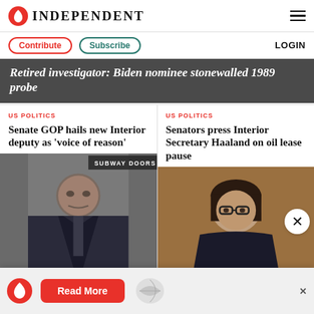INDEPENDENT
Contribute  Subscribe  LOGIN
Retired investigator: Biden nominee stonewalled 1989 probe
US POLITICS
Senate GOP hails new Interior deputy as 'voice of reason'
[Figure (photo): Man in dark suit near subway doors]
US POLITICS
Senators press Interior Secretary Haaland on oil lease pause
[Figure (photo): Woman with glasses, brown background]
Read More